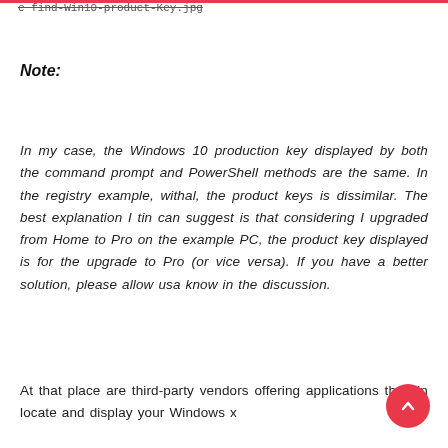e find-Win10-product-Key.jpg
Note:
In my case, the Windows 10 production key displayed by both the command prompt and PowerShell methods are the same. In the registry example, withal, the product keys is dissimilar. The best explanation I tin can suggest is that considering I upgraded from Home to Pro on the example PC, the product key displayed is for the upgrade to Pro (or vice versa). If you have a better solution, please allow usa know in the discussion.
At that place are third-party vendors offering applications that tin locate and display your Windows x